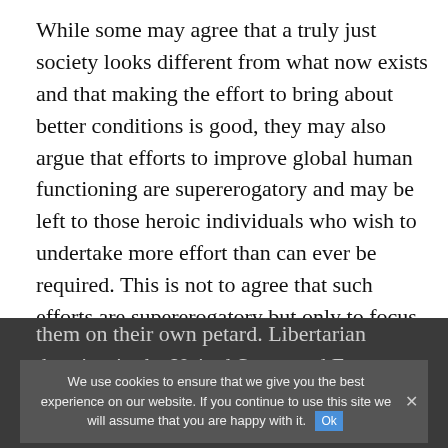While some may agree that a truly just society looks different from what now exists and that making the effort to bring about better conditions is good, they may also argue that efforts to improve global human functioning are supererogatory and may be left to those heroic individuals who wish to undertake more effort than can ever be required. This is not to agree that such efforts are supererogatory but only to focus on conditions that result from actions that cause direct and identifiable harm.
A negative approach answers the arguments of libertarians on their own terms with the aim of hoisting them on their own petard. Libertarian theorists in the United States and Europe argue that attempts to regulate trade and global mark violations of liberty for those engaged in global business. Attempts to alleviate poverty, they say, violate the liberty of some individuals